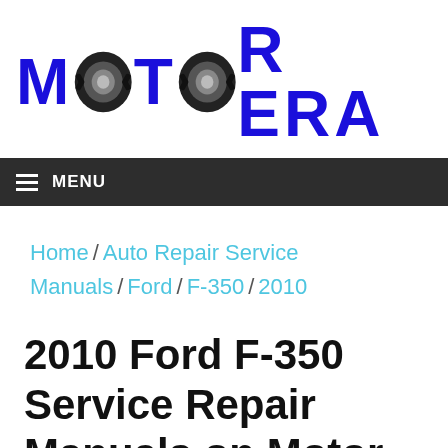[Figure (logo): Motor Era logo with two tire images replacing the letter O in MOTOR, text in bold blue on white background]
≡ MENU
Home / Auto Repair Service Manuals / Ford / F-350 / 2010
2010 Ford F-350 Service Repair Manuals on Motor